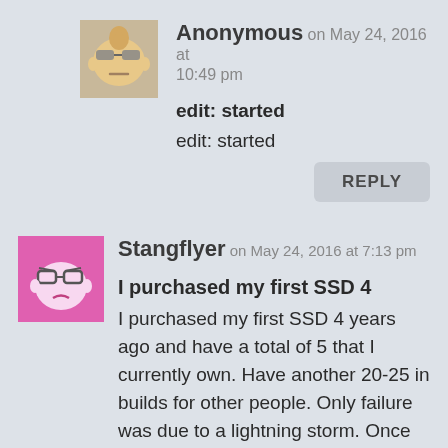[Figure (illustration): Avatar icon of Anonymous user — cartoon face with sunglasses on tan/orange background]
Anonymous on May 24, 2016 at 10:49 pm
edit: started
edit: started
REPLY
[Figure (illustration): Avatar icon of Stangflyer user — cartoon face with glasses on pink/magenta background]
Stangflyer on May 24, 2016 at 7:13 pm
I purchased my first SSD 4
I purchased my first SSD 4 years ago and have a total of 5 that I currently own. Have another 20-25 in builds for other people. Only failure was due to a lightning storm. Once you use ssd's you